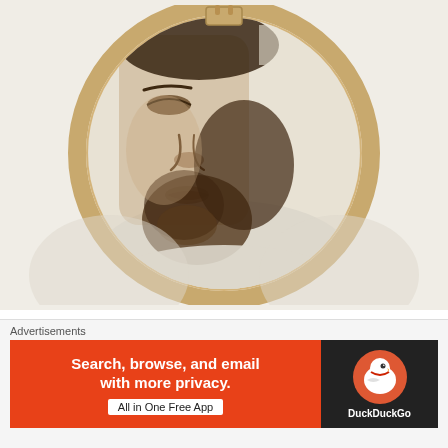[Figure (photo): A cross-stitch embroidery portrait in a wooden hoop showing a man's face. The left side of the face is fully stitched in brown and beige tones, while the right side appears partially completed. The fabric background is cream/off-white.]
The whole left side of his face is done and the right side is done to the edge of the pattern except for
Advertisements
Search, browse, and email with more privacy. All in One Free App
[Figure (logo): DuckDuckGo logo - duck icon in a circle with DuckDuckGo text below, on dark background]